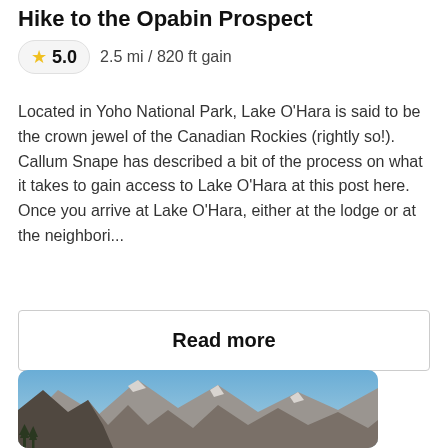Hike to the Opabin Prospect
★ 5.0   2.5 mi / 820 ft gain
Located in Yoho National Park, Lake O'Hara is said to be the crown jewel of the Canadian Rockies (rightly so!). Callum Snape has described a bit of the process on what it takes to gain access to Lake O'Hara at this post here. Once you arrive at Lake O'Hara, either at the lodge or at the neighbori...
Read more
[Figure (photo): Mountain landscape photo showing rocky peaks under a blue sky, taken from a hiking trail in Yoho National Park near Lake O'Hara.]